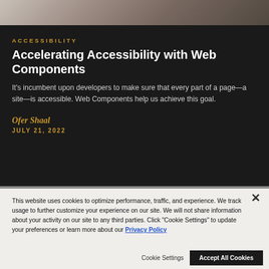[Figure (photo): Partial photo of a person, cropped at top of page, dark tones]
ACCESSIBILITY
Accelerating Accessibility with Web Components
It's incumbent upon developers to make sure that every part of a page—a site—is accessible. Web Components help us achieve this goal.
Ofer Shaal
JULY 21, 2022
This website uses cookies to optimize performance, traffic, and experience. We track usage to further customize your experience on our site. We will not share information about your activity on our site to any third parties. Click "Cookie Settings" to update your preferences or learn more about our Privacy Policy